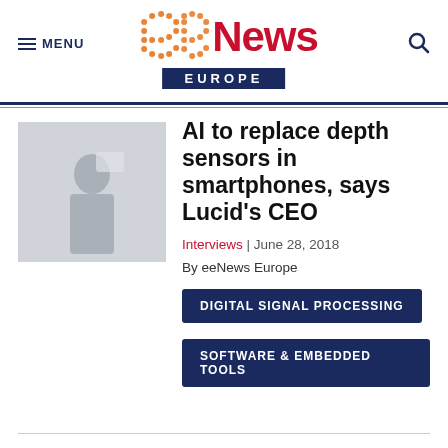eeNews EUROPE
[Figure (photo): Photo of a person holding a smartphone or device, slightly blurred/light]
AI to replace depth sensors in smartphones, says Lucid's CEO
Interviews | June 28, 2018
By eeNews Europe
DIGITAL SIGNAL PROCESSING
SOFTWARE & EMBEDDED TOOLS